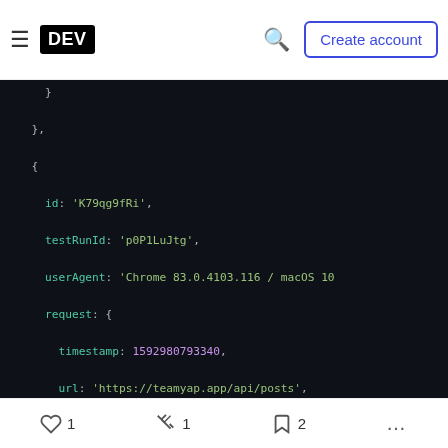DEV | Create account
[Figure (screenshot): Code block showing JSON/JavaScript object with dark background. Contains fields: id, testRunId, userAgent, request (with timestamp, url, method), response (with statusCode, timestamp, headers, body). Syntax highlighted with green keys, yellow/orange string values, purple numbers.]
1 reaction, 1 unicorn, 2 bookmarks, more options